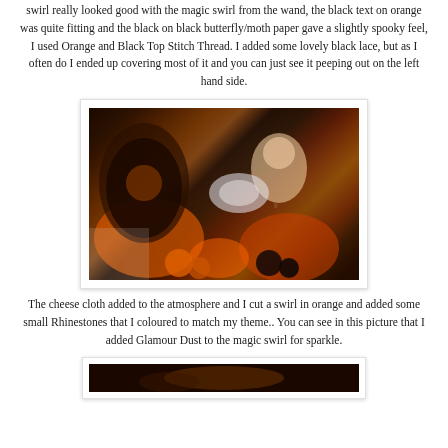swirl really looked good with the magic swirl from the wand, the black text on orange was quite fitting and the black on black butterfly/moth paper gave a slightly spooky feel, I used Orange and Black Top Stitch Thread. I added some lovely black lace, but as I often do I ended up covering most of it and you can just see it peeping out on the left hand side.
[Figure (photo): Close-up photo of a crafted Halloween-themed project featuring a fairy/girl illustration on dark background with orange and black butterfly/moth imagery, white lace, orange flowers, black roses, and a crystal/rhinestone magic swirl element.]
The cheese cloth added to the atmosphere and I cut a swirl in orange and added some small Rhinestones that I coloured to match my theme.. You can see in this picture that I added Glamour Dust to the magic swirl for sparkle.
[Figure (photo): Partial view of a second crafted Halloween project photo, only the top portion visible.]